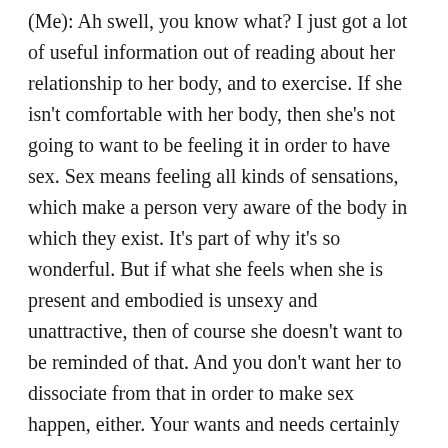(Me): Ah swell, you know what? I just got a lot of useful information out of reading about her relationship to her body, and to exercise. If she isn't comfortable with her body, then she's not going to want to be feeling it in order to have sex. Sex means feeling all kinds of sensations, which make a person very aware of the body in which they exist. It's part of why it's so wonderful. But if what she feels when she is present and embodied is unsexy and unattractive, then of course she doesn't want to be reminded of that. And you don't want her to dissociate from that in order to make sex happen, either. Your wants and needs certainly matter just as much, and it sounds like what's needed is for her to be more active in working this through. It's going to be important that you are very warm and supportive about this, even if you're also giving her some firm nudges towards therapy or reading some good books about this. Approach it like it's a mutual struggle, because it is. And how you deal with it will help or hinder the process. It needs to be safe for her to explore and then share with you what's underneath her self-consciousness.